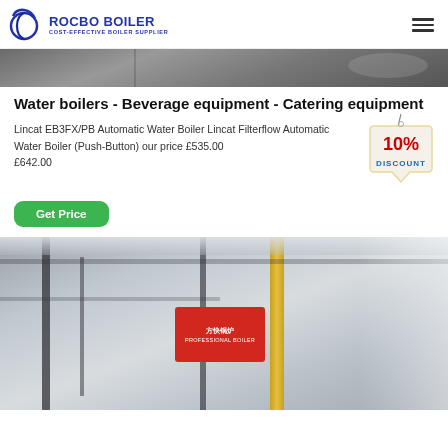ROCBO BOILER - COST-EFFECTIVE BOILER SUPPLIER
[Figure (photo): Top strip photo of industrial boiler equipment]
Water boilers - Beverage equipment - Catering equipment
Lincat EB3FX/PB Automatic Water Boiler Lincat Filterflow Automatic Water Boiler (Push-Button) our price £535.00 £642.00
[Figure (infographic): 10% DISCOUNT badge/label graphic]
[Figure (photo): Bottom photo of industrial boiler facility interior]